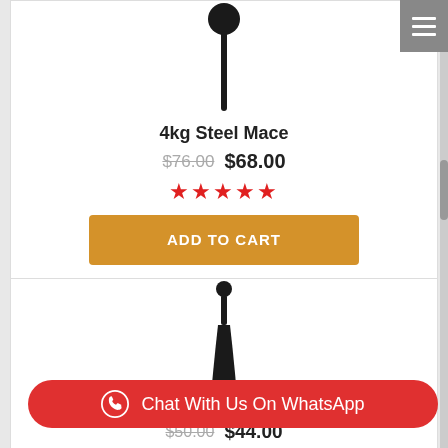[Figure (illustration): Steel mace product image — black mace with round ball top and long handle, shown vertically on white background]
4kg Steel Mace
$76.00 $68.00
★★★★★
ADD TO CART
[Figure (illustration): Steel club / Indian club product image — black club shape with small round knob at top and wider base, shown vertically on white background]
Chat With Us On WhatsApp
$50.00 $44.00